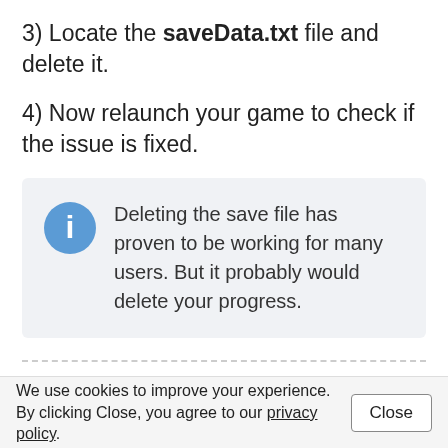3) Locate the saveData.txt file and delete it.
4) Now relaunch your game to check if the issue is fixed.
Deleting the save file has proven to be working for many users. But it probably would delete your progress.
We use cookies to improve your experience. By clicking Close, you agree to our privacy policy.